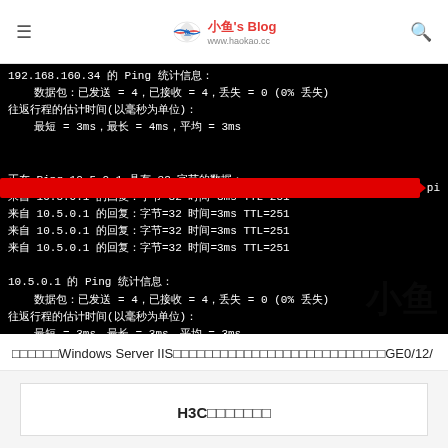小鱼's Blog www.haokao.cc
[Figure (screenshot): Terminal/command prompt window showing ping results. Text shows: 192.168.160.34 的 Ping 统计信息: 数据包：已发送 = 4，已接收 = 4，丢失 = 0 (0% 丢失). 往返行程的估计时间(以毫秒为单位): 最短 = 3ms，最长 = 4ms，平均 = 3ms. A red horizontal bar overlays part of the screen. Then: 正在 Ping 10.5.0.1 具有 32 字节的数据: 来自 10.5.0.1 的回复：字节=32 时间=3ms TTL=251 (x4). 10.5.0.1 的 Ping 统计信息: 数据包：已发送 = 4，已接收 = 4，丢失 = 0 (0% 丢失). 往返行程的估计时间(以毫秒为单位): 最短 = 3ms，最长 = 3ms，平均 = 3ms]
□□□□□□Windows Server IIS□□□□□□□□□□□□□□□□□□□□□□□□□□□GE0/12/
H3C□□□□□□□